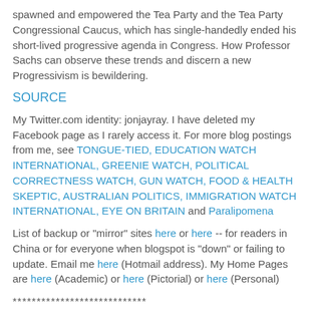spawned and empowered the Tea Party and the Tea Party Congressional Caucus, which has single-handedly ended his short-lived progressive agenda in Congress. How Professor Sachs can observe these trends and discern a new Progressivism is bewildering.
SOURCE
My Twitter.com identity: jonjayray. I have deleted my Facebook page as I rarely access it. For more blog postings from me, see TONGUE-TIED, EDUCATION WATCH INTERNATIONAL, GREENIE WATCH, POLITICAL CORRECTNESS WATCH, GUN WATCH, FOOD & HEALTH SKEPTIC, AUSTRALIAN POLITICS, IMMIGRATION WATCH INTERNATIONAL, EYE ON BRITAIN and Paralipomena
List of backup or "mirror" sites here or here -- for readers in China or for everyone when blogspot is "down" or failing to update. Email me here (Hotmail address). My Home Pages are here (Academic) or here (Pictorial) or here (Personal)
****************************